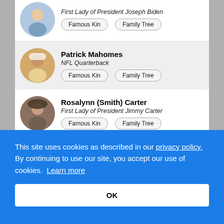First Lady of President Joseph Biden
Famous Kin | Family Tree (buttons)
Patrick Mahomes — NFL Quarterback
Famous Kin | Family Tree (buttons)
Rosalynn (Smith) Carter — First Lady of President Jimmy Carter
Famous Kin | Family Tree (buttons)
Tom Brady — NFL Quarterback
Famous Kin | Family Tree (buttons)
This site uses cookies as described in our privacy policy. By continuing to use our site, you accept our use of cookies. Learn more
OK